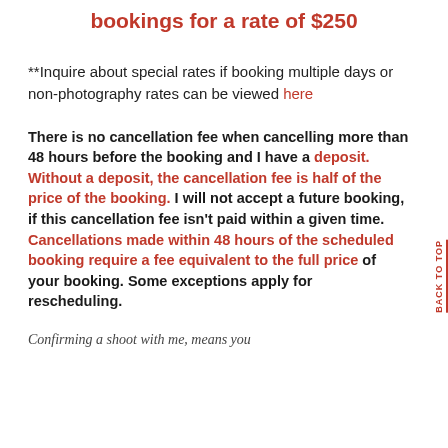bookings for a rate of $250
**Inquire about special rates if booking multiple days or non-photography rates can be viewed here
There is no cancellation fee when cancelling more than 48 hours before the booking and I have a deposit. Without a deposit, the cancellation fee is half of the price of the booking. I will not accept a future booking, if this cancellation fee isn't paid within a given time. Cancellations made within 48 hours of the scheduled booking require a fee equivalent to the full price of your booking. Some exceptions apply for rescheduling.
Confirming a shoot with me, means you